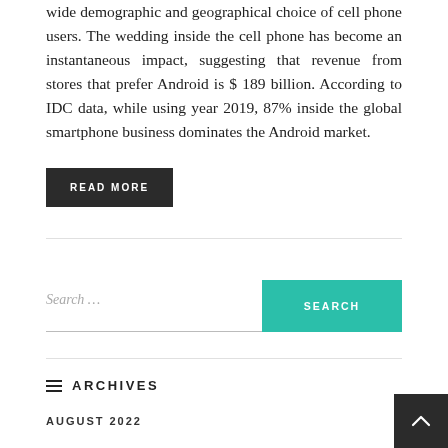wide demographic and geographical choice of cell phone users. The wedding inside the cell phone has become an instantaneous impact, suggesting that revenue from stores that prefer Android is $ 189 billion. According to IDC data, while using year 2019, 87% inside the global smartphone business dominates the Android market.
READ MORE
Search ...
SEARCH
≡ ARCHIVES
AUGUST 2022